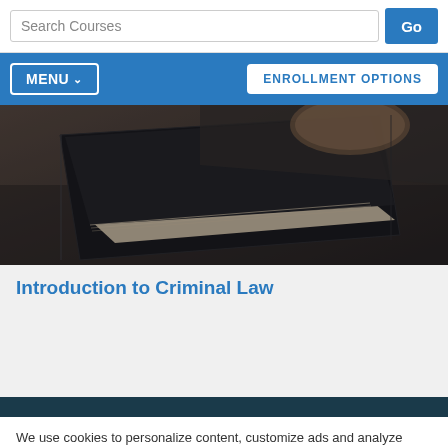Search Courses | Go
MENU | ENROLLMENT OPTIONS
[Figure (photo): Close-up photo of dark hardcover books on a table, partially open, with warm tones]
Introduction to Criminal Law
We use cookies to personalize content, customize ads and analyze traffic on our site. Privacy policy
Manage Options | Accept